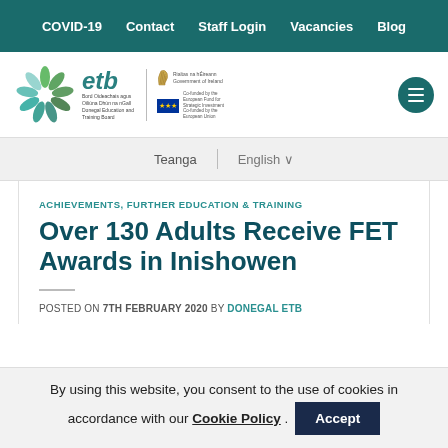COVID-19  Contact  Staff Login  Vacancies  Blog
[Figure (logo): Donegal ETB logo with swirl graphic, etb text, Bord Oideachais agus Oiliúna Dhún na nGall, Donegal Education and Training Board, Irish Government harp, and EU co-funded logos]
Teanga  English
ACHIEVEMENTS, FURTHER EDUCATION & TRAINING
Over 130 Adults Receive FET Awards in Inishowen
POSTED ON 7TH FEBRUARY 2020 BY DONEGAL ETB
By using this website, you consent to the use of cookies in accordance with our Cookie Policy .